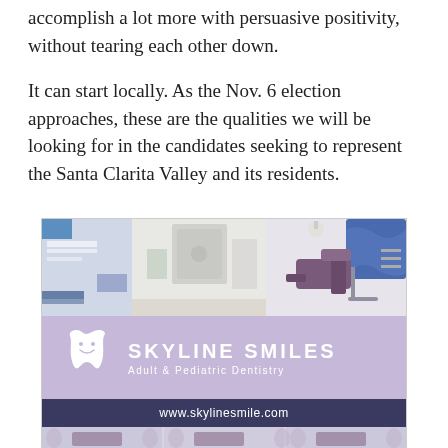accomplish a lot more with persuasive positivity, without tearing each other down.
It can start locally. As the Nov. 6 election approaches, these are the qualities we will be looking for in the candidates seeking to represent the Santa Clarita Valley and its residents.
[Figure (photo): Advertisement for Skyline Smiles Adult & Pediatric Dentistry showing dental office interior photos at top and bottom, a purple banner with tooth logo and 'SKYLINE SMILES Adult & Pediatric Dentistry' text in the middle, and a dark navy bar with 'www.skylinesmile.com' below.]